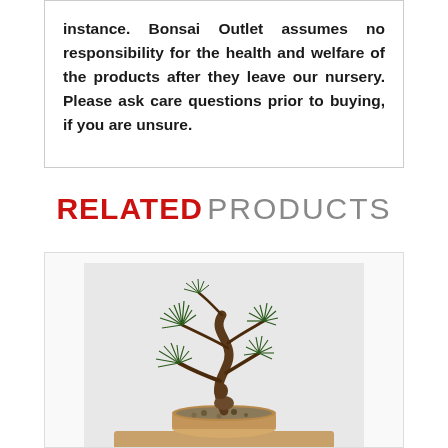instance. Bonsai Outlet assumes no responsibility for the health and welfare of the products after they leave our nursery. Please ask care questions prior to buying, if you are unsure.
RELATED PRODUCTS
[Figure (photo): A bonsai pine tree with curved trunk in an S-shape, planted in a shallow oval pot with pebbles, against a light gray background.]